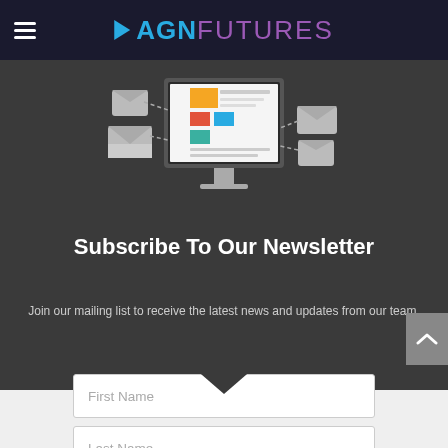AGN FUTURES
[Figure (illustration): Computer monitor with newspaper/newsletter layout graphic and email envelopes floating around it, on dark background]
Subscribe To Our Newsletter
Join our mailing list to receive the latest news and updates from our team.
First Name
Last Name